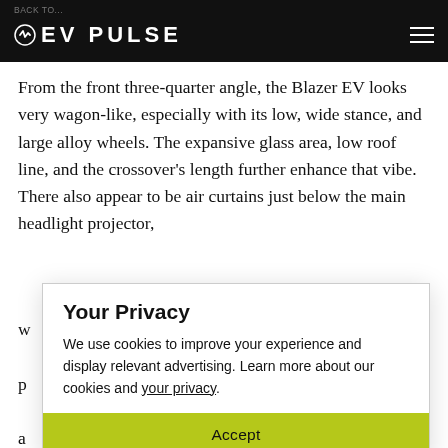EV PULSE
From the front three-quarter angle, the Blazer EV looks very wagon-like, especially with its low, wide stance, and large alloy wheels. The expansive glass area, low roof line, and the crossover's length further enhance that vibe. There also appear to be air curtains just below the main headlight projector,
Your Privacy
We use cookies to improve your experience and display relevant advertising. Learn more about our cookies and your privacy.
Accept